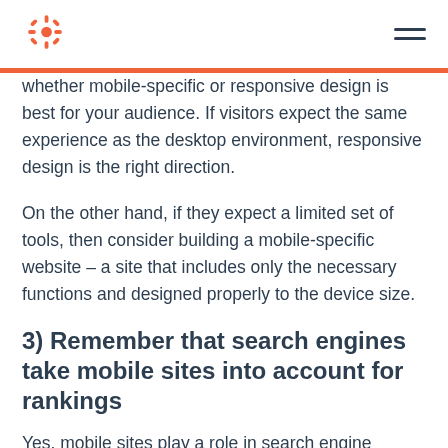[Figure (logo): HubSpot sprocket logo in orange/red]
whether mobile-specific or responsive design is best for your audience. If visitors expect the same experience as the desktop environment, responsive design is the right direction.
On the other hand, if they expect a limited set of tools, then consider building a mobile-specific website – a site that includes only the necessary functions and designed properly to the device size.
3) Remember that search engines take mobile sites into account for rankings
Yes, mobile sites play a role in search engine optimization. Ensure that title tags are displaying